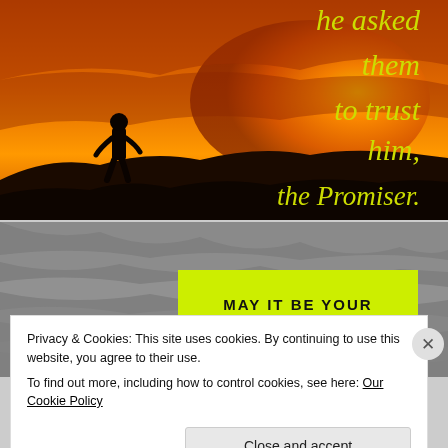[Figure (illustration): Sunset image with silhouette of a person standing on a hill. Yellow-green italic text on right side reads: 'he asked them to trust him, the Promiser.']
[Figure (illustration): Black and white nature background with a bright yellow-green rectangle overlay containing bold text: 'MAY IT BE YOUR GROWING EXPERIENCE']
Privacy & Cookies: This site uses cookies. By continuing to use this website, you agree to their use.
To find out more, including how to control cookies, see here: Our Cookie Policy
Close and accept